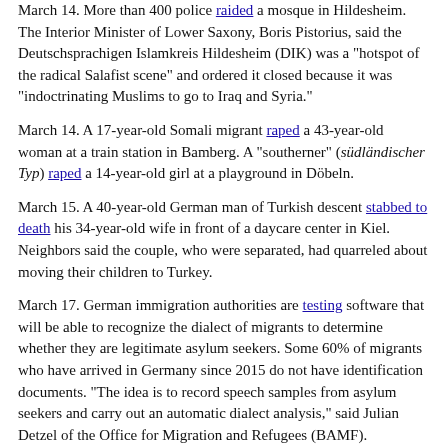March 14. More than 400 police raided a mosque in Hildesheim. The Interior Minister of Lower Saxony, Boris Pistorius, said the Deutschsprachigen Islamkreis Hildesheim (DIK) was a "hotspot of the radical Salafist scene" and ordered it closed because it was "indoctrinating Muslims to go to Iraq and Syria."
March 14. A 17-year-old Somali migrant raped a 43-year-old woman at a train station in Bamberg. A "southerner" (südländischer Typ) raped a 14-year-old girl at a playground in Döbeln.
March 15. A 40-year-old German man of Turkish descent stabbed to death his 34-year-old wife in front of a daycare center in Kiel. Neighbors said the couple, who were separated, had quarreled about moving their children to Turkey.
March 17. German immigration authorities are testing software that will be able to recognize the dialect of migrants to determine whether they are legitimate asylum seekers. Some 60% of migrants who have arrived in Germany since 2015 do not have identification documents. "The idea is to record speech samples from asylum seekers and carry out an automatic dialect analysis," said Julian Detzel of the Office for Migration and Refugees (BAMF).
March 18. Five Arab migrants were accused of gang raping a